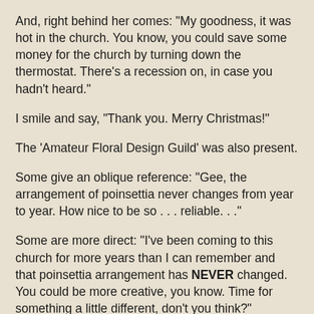And, right behind her comes: "My goodness, it was hot in the church. You know, you could save some money for the church by turning down the thermostat. There's a recession on, in case you hadn't heard."
I smile and say, "Thank you. Merry Christmas!"
The 'Amateur Floral Design Guild' was also present.
Some give an oblique reference: "Gee, the arrangement of poinsettia never changes from year to year. How nice to be so . . . reliable. . ."
Some are more direct: "I've been coming to this church for more years than I can remember and that poinsettia arrangement has NEVER changed. You could be more creative, you know. Time for something a little different, don't you think?"
There's nothing, however, like seeing something through someone else's "new eyes": "I LOVE the way the poinsettias are arranged to look like a Christmas Tree. How really